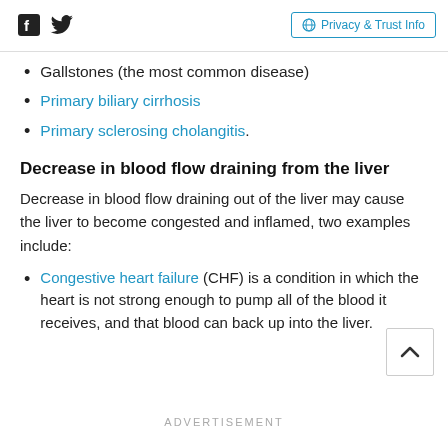Social icons (Facebook, Twitter) | Privacy & Trust Info
Gallstones (the most common disease)
Primary biliary cirrhosis
Primary sclerosing cholangitis.
Decrease in blood flow draining from the liver
Decrease in blood flow draining out of the liver may cause the liver to become congested and inflamed, two examples include:
Congestive heart failure (CHF) is a condition in which the heart is not strong enough to pump all of the blood it receives, and that blood can back up into the liver.
ADVERTISEMENT